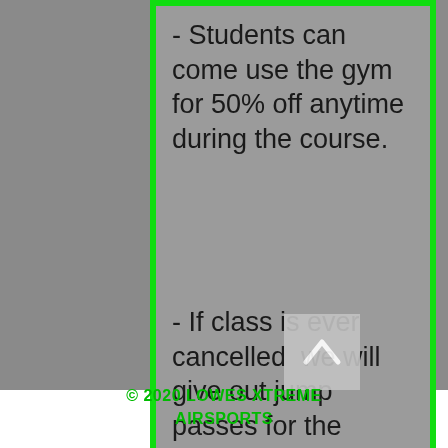- Students can come use the gym for 50% off anytime during the course.
- If class is ever cancelled  we will give out jump passes for the students to use at their convenience.
© 2020 LOWES XTREME AIRSPORTS